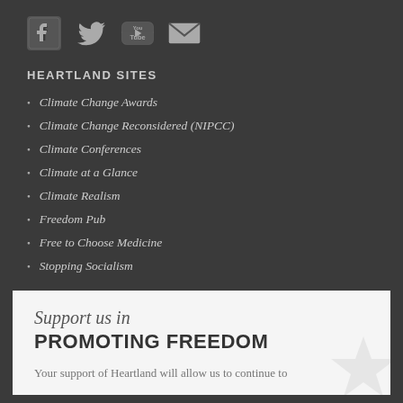[Figure (illustration): Social media icons: Facebook, Twitter, YouTube, and email envelope icons in gray on dark background]
HEARTLAND SITES
Climate Change Awards
Climate Change Reconsidered (NIPCC)
Climate Conferences
Climate at a Glance
Climate Realism
Freedom Pub
Free to Choose Medicine
Stopping Socialism
Support us in PROMOTING FREEDOM
Your support of Heartland will allow us to continue to